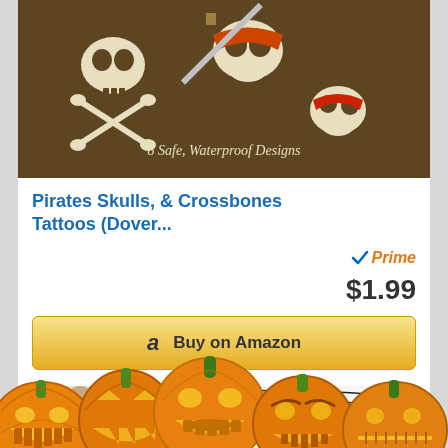[Figure (photo): Product image of pirate skulls and crossbones tattoo set on dark brown background with text '8 Safe, Waterproof Designs']
Pirates Skulls, & Crossbones Tattoos (Dover...
[Figure (logo): Amazon Prime logo with checkmark and 'Prime' text in orange italic]
$1.99
Buy on Amazon
BESTSELLER NO. 3
[Figure (photo): Tattoo product preview showing tribal tattoo designs]
[Figure (illustration): Row of Halloween jack-o-lantern pumpkins with various carved faces overlaid at bottom of page]